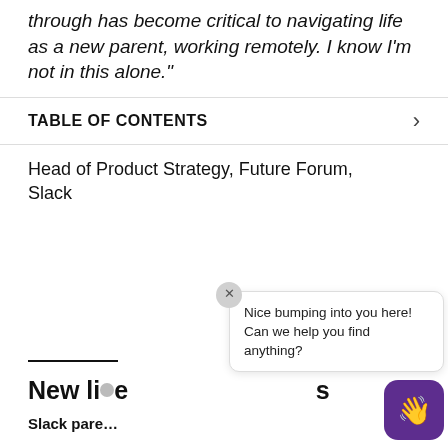through has become critical to navigating life as a new parent, working remotely. I know I'm not in this alone."
TABLE OF CONTENTS
Head of Product Strategy, Future Forum, Slack
New life…
Slack pare…
[Figure (other): Chat widget overlay with waving hand emoji button and speech bubble saying 'Nice bumping into you here! Can we help you find anything?']